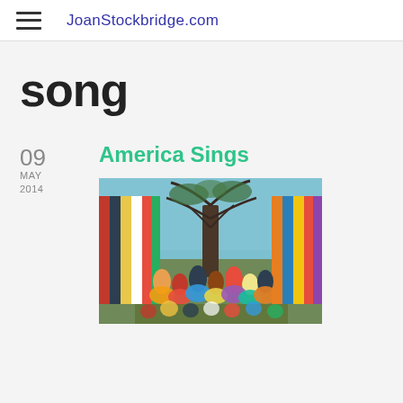JoanStockbridge.com
song
09
MAY
2014
America Sings
[Figure (photo): A colorful painting depicting a festive outdoor gathering with people dancing and celebrating, with colorful striped banners and a large bare tree in the center background, against a blue sky.]